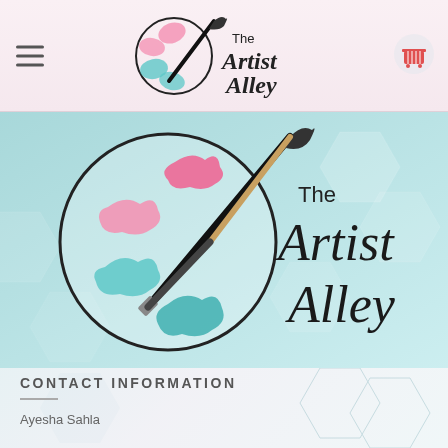The Artist Alley — navigation bar with hamburger menu and cart icon
[Figure (logo): The Artist Alley logo: paint palette circle with pink and teal paint splotches and a paintbrush, with cursive text 'The Artist Alley' on a light teal background with decorative hexagon shapes]
CONTACT INFORMATION
Ayesha Sahla